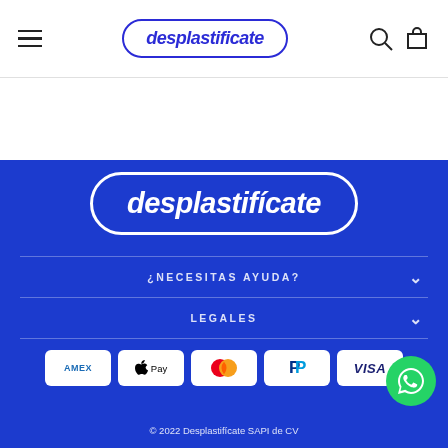desplastificate
[Figure (logo): Desplastificate logo in white on blue background, pill/rounded rectangle border]
¿NECESITAS AYUDA?
LEGALES
[Figure (infographic): Payment method icons: American Express, Apple Pay, Mastercard, PayPal, Visa]
[Figure (logo): WhatsApp green circle button]
© 2022 Desplastificate SAPI de CV